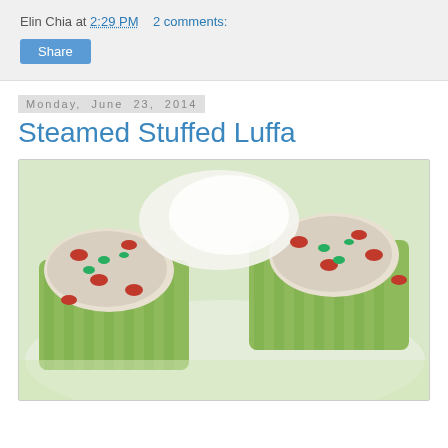Elin Chia at 2:29 PM   2 comments:
Share
Monday, June 23, 2014
Steamed Stuffed Luffa
[Figure (photo): Close-up photo of steamed stuffed luffa (loofah gourd) pieces on a white plate, topped with red goji berries and sliced green onions, with white enoki mushrooms, in a light broth.]